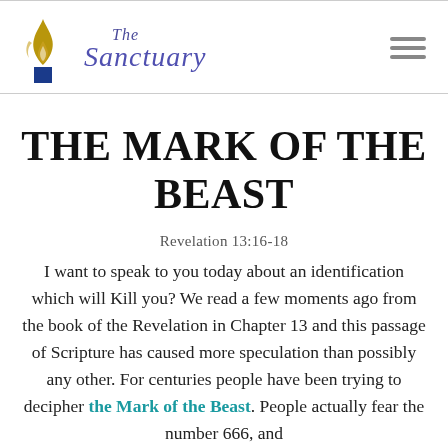The Sanctuary
THE MARK OF THE BEAST
Revelation 13:16-18
I want to speak to you today about an identification which will Kill you? We read a few moments ago from the book of the Revelation in Chapter 13 and this passage of Scripture has caused more speculation than possibly any other. For centuries people have been trying to decipher the Mark of the Beast. People actually fear the number 666, and